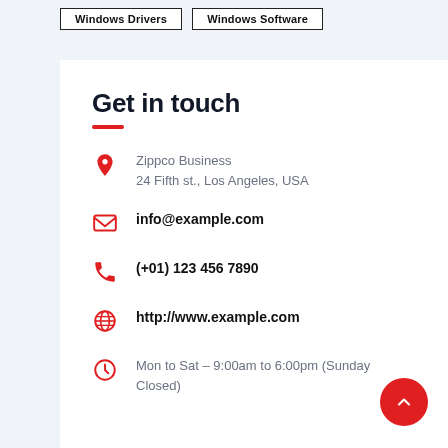Windows Drivers | Windows Software
Get in touch
Zippco Business
24 Fifth st., Los Angeles, USA
info@example.com
(+01) 123 456 7890
http://www.example.com
Mon to Sat - 9:00am to 6:00pm (Sunday Closed)